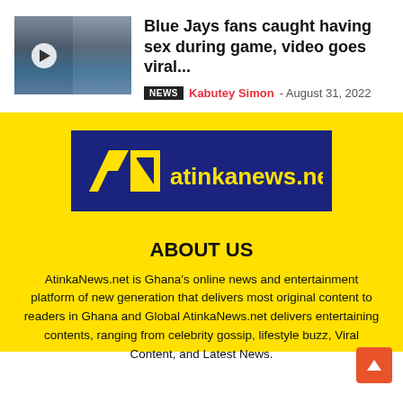[Figure (photo): Thumbnail image showing two frames of a video, with a play button overlay on the left frame. Blue-toned stadium/bleacher imagery.]
Blue Jays fans caught having sex during game, video goes viral...
NEWS  Kabutey Simon - August 31, 2022
[Figure (logo): AtinkaNews.net logo: dark navy blue rectangle with AN logo mark in yellow and 'atinkanews.net' text in yellow]
ABOUT US
AtinkaNews.net is Ghana's online news and entertainment platform of new generation that delivers most original content to readers in Ghana and Global AtinkaNews.net delivers entertaining contents, ranging from celebrity gossip, lifestyle buzz, Viral Content, and Latest News.